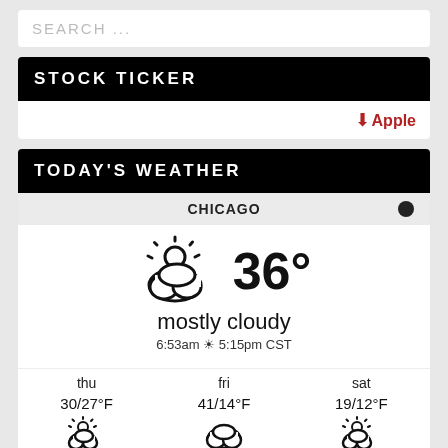SEARCH ...
STOCK TICKER
↓ Apple
TODAY'S WEATHER
CHICAGO
[Figure (infographic): Weather widget showing mostly cloudy icon and 36° temperature]
mostly cloudy
6:53am ☀ 5:15pm CST
thu   fri   sat
30/27°F   41/14°F   19/12°F